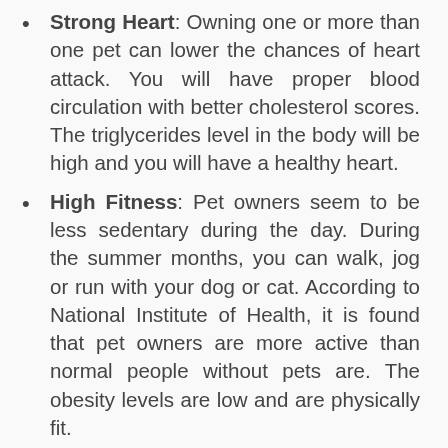Strong Heart: Owning one or more than one pet can lower the chances of heart attack. You will have proper blood circulation with better cholesterol scores. The triglycerides level in the body will be high and you will have a healthy heart.
High Fitness: Pet owners seem to be less sedentary during the day. During the summer months, you can walk, jog or run with your dog or cat. According to National Institute of Health, it is found that pet owners are more active than normal people without pets are. The obesity levels are low and are physically fit.
Great for Kids: It will increase the immune level of kids in the family. A pet in the household will help in the intellectual growth of your children. Your kids will have a nurtured behavior and will improve